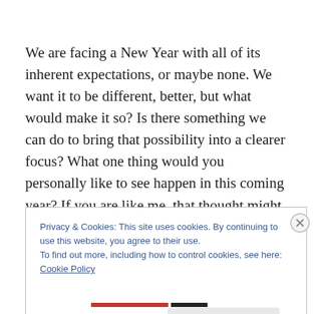We are facing a New Year with all of its inherent expectations, or maybe none. We want it to be different, better, but what would make it so? Is there something we can do to bring that possibility into a clearer focus? What one thing would you personally like to see happen in this coming year? If you are like me, that thought might draw a blank, maybe a few fleeting ideas, but nothing with any
Privacy & Cookies: This site uses cookies. By continuing to use this website, you agree to their use.
To find out more, including how to control cookies, see here: Cookie Policy
Close and accept